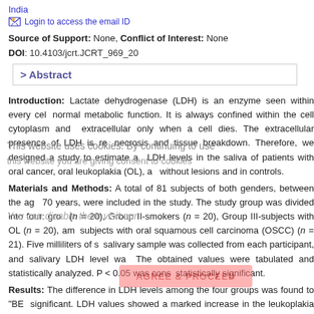India
Login to access the email ID
Source of Support: None, Conflict of Interest: None
DOI: 10.4103/jcrt.JCRT_969_20
> Abstract
Introduction: Lactate dehydrogenase (LDH) is an enzyme seen within every cell as a normal metabolic function. It is always confined within the cell cytoplasm and becomes extracellular only when a cell dies. The extracellular presence of LDH is related to necrosis and tissue breakdown. Therefore, we designed a study to estimate and compare LDH levels in the saliva of patients with oral cancer, oral leukoplakia (OL), and mucosa without lesions and in controls.
Materials and Methods: A total of 81 subjects of both genders, between the ages of 18–70 years, were included in the study. The study group was divided into four: group I-controls (n = 20), Group II-smokers (n = 20), Group III-subjects with OL (n = 20), and Group IV-subjects with oral squamous cell carcinoma (OSCC) (n = 21). Five milliliters of unstimulated salivary sample was collected from each participant, and salivary LDH level was estimated. The obtained values were tabulated and statistically analyzed. P < 0.05 was considered statistically significant.
Results: The difference in LDH levels among the four groups was found to "BE" statistically significant. LDH values showed a marked increase in the leukoplakia group (49... IU/L) and OSCC group (106.97 ± 32.75 IU/L) when compared to controls and sm...